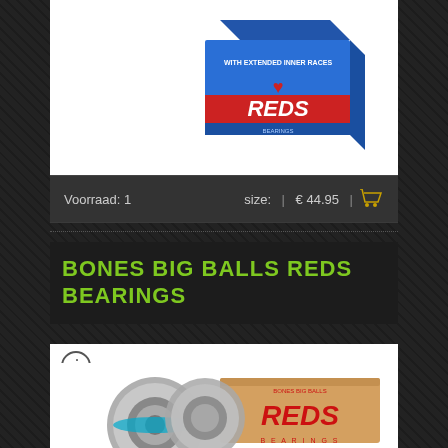[Figure (photo): Bones Reds bearing box product image, blue box with red REDS branding and 'with extended inner races' text, partially cropped at top]
Voorraad: 1    size:  |  € 44.95  |  🛒
BONES BIG BALLS REDS BEARINGS
[Figure (photo): Bones Big Balls Reds Bearings product image showing skateboard bearings (metallic with blue seal) next to a cardboard box with red Bones Big Balls branding]